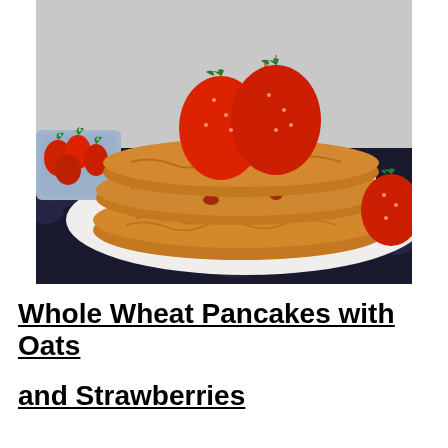[Figure (photo): A stack of golden-brown whole wheat oat pancakes topped with fresh red strawberries and maple syrup drizzle, served on a white plate. A blue dish of strawberries is visible on the left, and a strawberry on the right. Dark patterned tablecloth underneath.]
Whole Wheat Pancakes with Oats and Strawberries